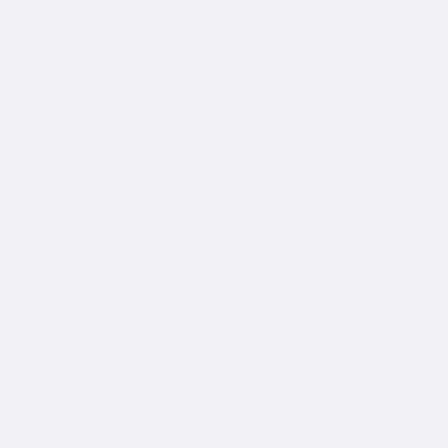new pics of what a crank pulley should look like.
10:02am- Kyle – Have a nice day, buddy!
10:03am- Ed – You too brother. I'll take a look at everything a little later and I'll talk to you later.
2:02pm- Ed – Where you u buy the crank pulley from? And why didn't you just replace the seal?
2:03pm- Kyle – It is a Nissan OEM unit and the seal is not the problem and would be replaced anyway, sir.
2:05pm- Ed – Purchased from gspec?
2:05pm- Ed – I spoke to the guy I bought the motor from too, pretty much told me to go fuck myself. I